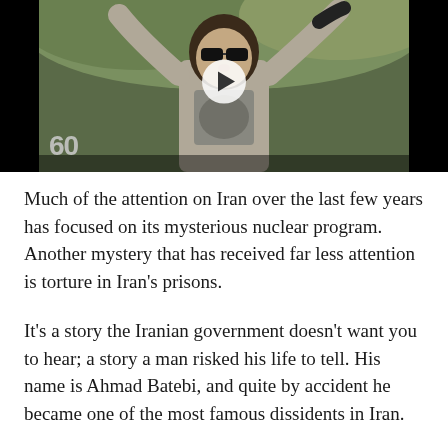[Figure (screenshot): Video thumbnail showing a man with dark hair and sunglasses raising his arms, wearing a graphic t-shirt, with a play button overlay. A '60' logo appears in the bottom-left corner of the video.]
Much of the attention on Iran over the last few years has focused on its mysterious nuclear program. Another mystery that has received far less attention is torture in Iran's prisons.
It's a story the Iranian government doesn't want you to hear; a story a man risked his life to tell. His name is Ahmad Batebi, and quite by accident he became one of the most famous dissidents in Iran.